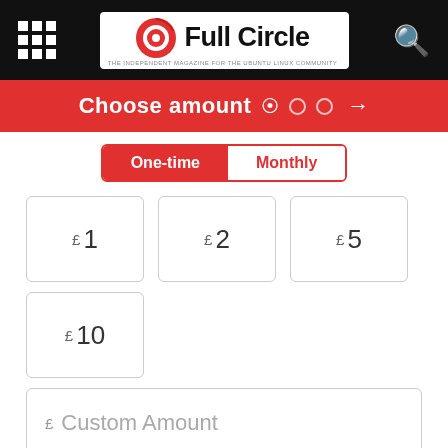[Figure (logo): Full Circle magazine logo with orange circle icon on white background in black navigation bar]
Choose amount
One-time  Monthly
£ 1
£ 2
£ 5
£ 10
£ Custom Amount
Write us a comment
giftaidit